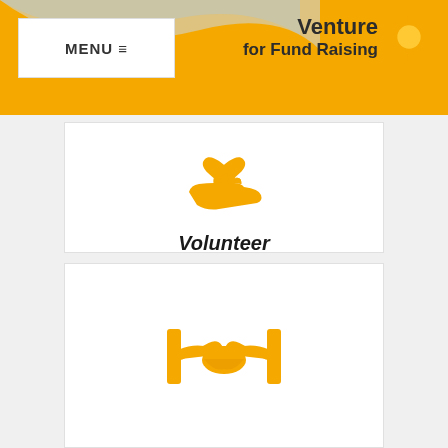MENU ≡ | Venture for Fund Raising
[Figure (illustration): Golden/orange icon of a hand holding a heart (volunteer/donate symbol)]
Volunteer
Students, those in-between jobs of careers, part-timers are welcome to apply! Applicants must be at least first year in college and have good communication skills. For more information, please send an email to venture@venture-asia.org.
[Figure (illustration): Golden/orange icon of two hands shaking (partnership/sponsor symbol)]